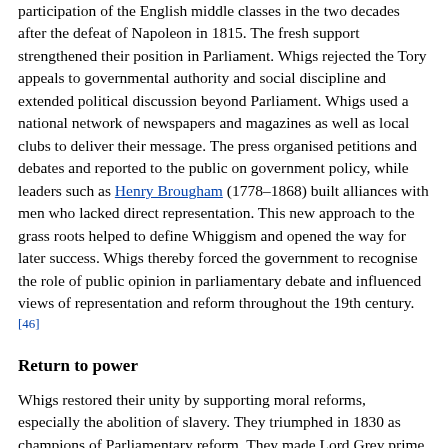participation of the English middle classes in the two decades after the defeat of Napoleon in 1815. The fresh support strengthened their position in Parliament. Whigs rejected the Tory appeals to governmental authority and social discipline and extended political discussion beyond Parliament. Whigs used a national network of newspapers and magazines as well as local clubs to deliver their message. The press organised petitions and debates and reported to the public on government policy, while leaders such as Henry Brougham (1778–1868) built alliances with men who lacked direct representation. This new approach to the grass roots helped to define Whiggism and opened the way for later success. Whigs thereby forced the government to recognise the role of public opinion in parliamentary debate and influenced views of representation and reform throughout the 19th century.[46]
Return to power
Whigs restored their unity by supporting moral reforms, especially the abolition of slavery. They triumphed in 1830 as champions of Parliamentary reform. They made Lord Grey prime minister 1830–1834 and the Reform Act 1832 championed by Grey became their signature measure. It broadened the franchise and ended the system of "rotten and pocket boroughs" (where elections were controlled by powerful families) and instead redistributed power on the basis of population. It added 217,000 voters to an electorate of 435,000